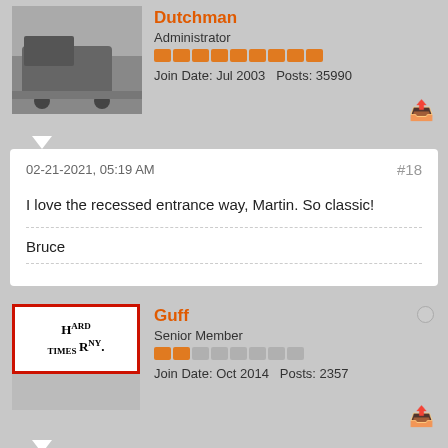Dutchman
Administrator
Join Date: Jul 2003   Posts: 35990
02-21-2021, 05:19 AM
#18
I love the recessed entrance way, Martin. So classic!
Bruce
Guff
Senior Member
Join Date: Oct 2014   Posts: 2357
02-21-2021, 05:24 AM
#19
Martin,
Nice craftsmanship!